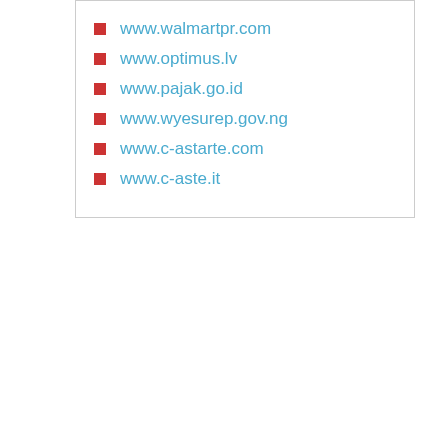www.walmartpr.com
www.optimus.lv
www.pajak.go.id
www.wyesurep.gov.ng
www.c-astarte.com
www.c-aste.it